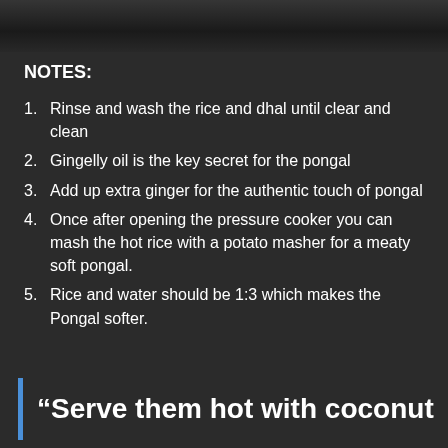[Figure (photo): Cropped photo of food dish, partially visible at the top of the page]
NOTES:
Rinse and wash the rice and dhal until clear and clean
Gingelly oil is the key secret for the pongal
Add up extra ginger for the authentic touch of pongal
Once after opening the pressure cooker you can mash the hot rice with a potato masher for a meaty soft pongal.
Rice and water should be 1:3 which makes the Pongal softer.
“Serve them hot with coconut